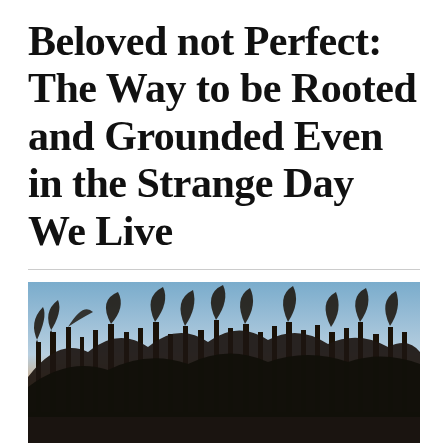Beloved not Perfect: The Way to be Rooted and Grounded Even in the Strange Day We Live
[Figure (photo): Silhouette of bare winter trees against a twilight sky with orange and blue gradient, wide landscape photograph]
We live in a strange day. Freedom seekers and